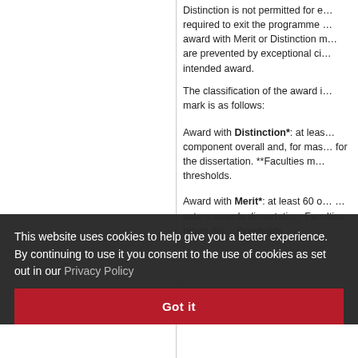Distinction is not permitted for e… required to exit the programme … award with Merit or Distinction m… are prevented by exceptional ci… intended award.
The classification of the award i… mark is as follows:
Award with Distinction*: at leas… component overall and, for mas… for the dissertation. **Faculties m… thresholds.
Award with Merit*: at least 60 o… … asters awards dissertation. Faculties retain dis… thresholds.
This website uses cookies to help give you a better experience. By continuing to use it you consent to the use of cookies as set out in our Privacy Policy
Got it